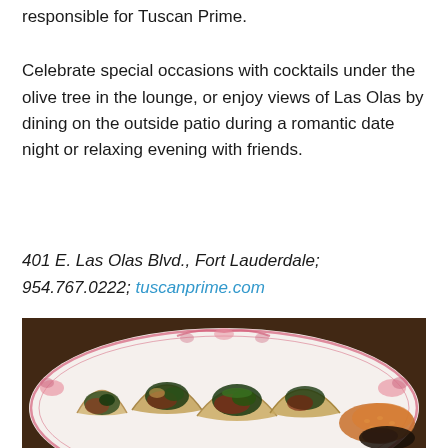responsible for Tuscan Prime.
Celebrate special occasions with cocktails under the olive tree in the lounge, or enjoy views of Las Olas by dining on the outside patio during a romantic date night or relaxing evening with friends.
401 E. Las Olas Blvd., Fort Lauderdale; 954.767.0222; tuscanprime.com
[Figure (photo): Photo of tacos on a decorative white plate with pink floral border, served with rice and black beans]